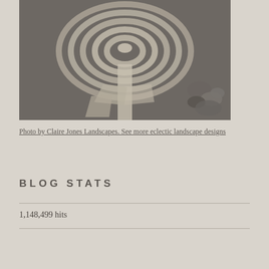[Figure (photo): Aerial or close-up view of a stone labyrinth/maze pathway made of flat stones with dark gravel between the paths, with natural rocks and stones to the side. Black and white or desaturated photograph.]
Photo by Claire Jones Landscapes. See more eclectic landscape designs
BLOG STATS
1,148,499 hits